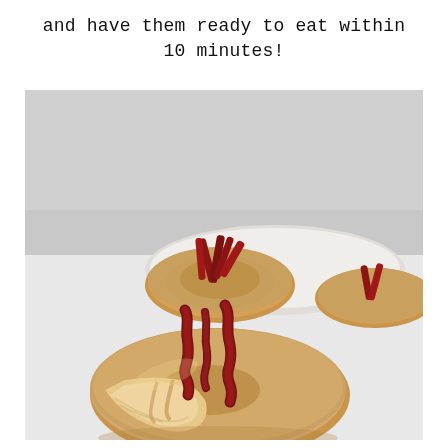and have them ready to eat within 10 minutes!
[Figure (photo): Close-up food photo of glazed donuts topped with crispy bacon strips. In the foreground, a donut with a bite taken out of it is prominently displayed, covered in a caramel/maple glaze with pieces of bacon on top. In the background, more glazed bacon donuts sit on a white plate. The photo has a clean white background.]